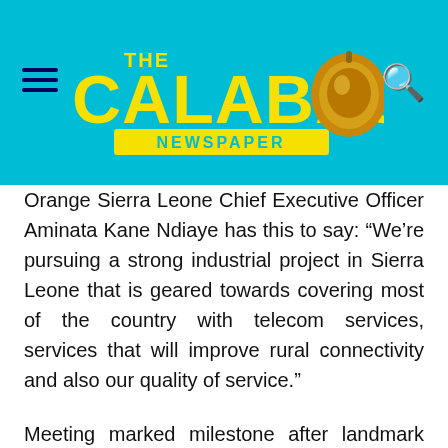[Figure (logo): The Calabash Newspaper logo with yellow stylized text on cyan/blue background, featuring a calabash gourd icon]
Orange Sierra Leone Chief Executive Officer Aminata Kane Ndiaye has this to say: “We’re pursuing a strong industrial project in Sierra Leone that is geared towards covering most of the country with telecom services, services that will improve rural connectivity and also our quality of service.”
Meeting marked milestone after landmark progression, the company has already drastically transformed the national landscape and socioeconomic status quo and is poised to continue leading the change in enabling new-era connectivity.
“What we’re offering is truly high-speed broadband mobile